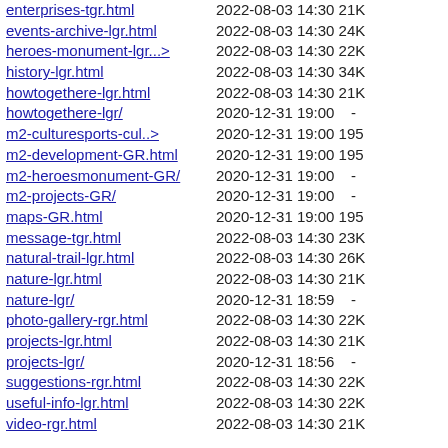enterprises-tgr.html  2022-08-03 14:30 21K
events-archive-lgr.html  2022-08-03 14:30 24K
heroes-monument-lgr...>  2022-08-03 14:30 22K
history-lgr.html  2022-08-03 14:30 34K
howtogethere-lgr.html  2022-08-03 14:30 21K
howtogethere-lgr/  2020-12-31 19:00  -
m2-culturesports-cul..>  2020-12-31 19:00 195
m2-development-GR.html  2020-12-31 19:00 195
m2-heroesmonument-GR/  2020-12-31 19:00  -
m2-projects-GR/  2020-12-31 19:00  -
maps-GR.html  2020-12-31 19:00 195
message-tgr.html  2022-08-03 14:30 23K
natural-trail-lgr.html  2022-08-03 14:30 26K
nature-lgr.html  2022-08-03 14:30 21K
nature-lgr/  2020-12-31 18:59  -
photo-gallery-rgr.html  2022-08-03 14:30 22K
projects-lgr.html  2022-08-03 14:30 21K
projects-lgr/  2020-12-31 18:56  -
suggestions-rgr.html  2022-08-03 14:30 22K
useful-info-lgr.html  2022-08-03 14:30 22K
video-rgr.html  2022-08-03 14:30 21K